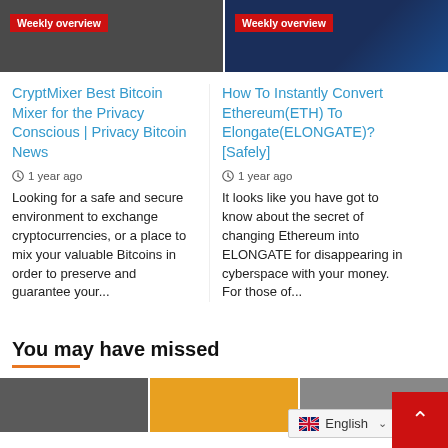[Figure (photo): Left thumbnail image with red 'Weekly overview' badge overlay]
[Figure (photo): Right thumbnail image with red 'Weekly overview' badge overlay, dark blue background]
CryptMixer Best Bitcoin Mixer for the Privacy Conscious | Privacy Bitcoin News
1 year ago
Looking for a safe and secure environment to exchange cryptocurrencies, or a place to mix your valuable Bitcoins in order to preserve and guarantee your...
How To Instantly Convert Ethereum(ETH) To Elongate(ELONGATE)? [Safely]
1 year ago
It looks like you have got to know about the secret of changing Ethereum into ELONGATE for disappearing in cyberspace with your money. For those of...
You may have missed
English